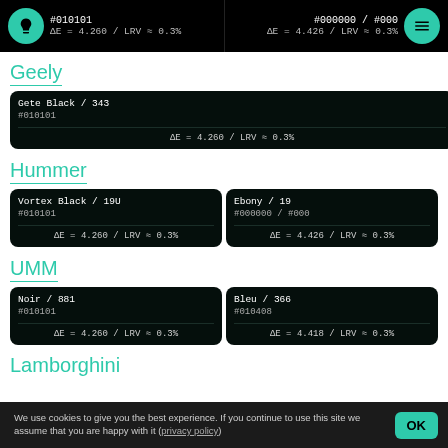#010101  ΔE = 4.260 / LRV ≈ 0.3%  |  #000000 / #000  ΔE = 4.426 / LRV ≈ 0.3%
Geely
| Name | Hex | Delta |
| --- | --- | --- |
| Gete Black / 343 | #010101 | ΔE = 4.260 / LRV ≈ 0.3% |
Hummer
| Name | Hex | Delta |
| --- | --- | --- |
| Vortex Black / 19U | #010101 | ΔE = 4.260 / LRV ≈ 0.3% |
| Ebony / 19 | #000000 / #000 | ΔE = 4.426 / LRV ≈ 0.3% |
UMM
| Name | Hex | Delta |
| --- | --- | --- |
| Noir / 881 | #010101 | ΔE = 4.260 / LRV ≈ 0.3% |
| Bleu / 366 | #010408 | ΔE = 4.418 / LRV ≈ 0.3% |
Lamborghini
We use cookies to give you the best experience. If you continue to use this site we assume that you are happy with it (privacy policy)